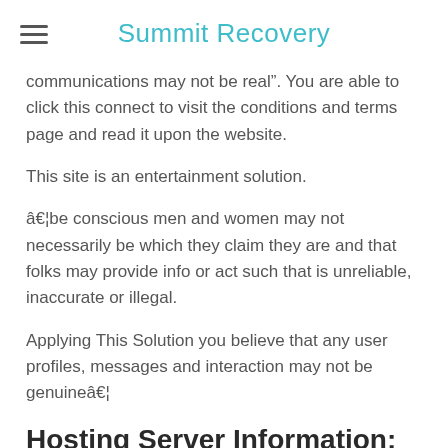Summit Recovery
communications may not be real”. You are able to click this connect to visit the conditions and terms page and read it upon the website.
This site is an entertainment solution.
â€¾be conscious men and women may not necessarily be which they claim they are and that folks may provide info or act such that is unreliable, inaccurate or illegal.
Applying This Solution you believe that any user profiles, messages and interaction may not be genuineâ€¦
Hosting Server Information: